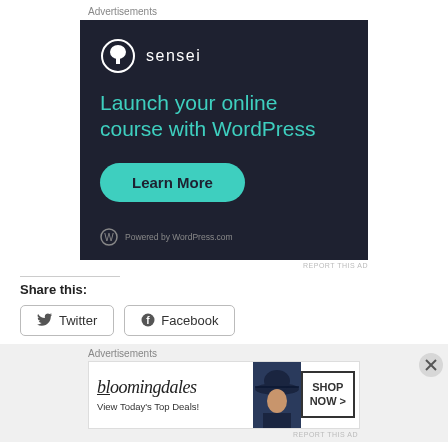Advertisements
[Figure (illustration): Sensei advertisement banner with dark navy background. Shows Sensei logo (tree icon in circle) and text 'Launch your online course with WordPress' in teal, with a teal 'Learn More' button and 'Powered by WordPress.com' footer.]
REPORT THIS AD
Share this:
[Figure (other): Twitter share button with bird icon]
[Figure (other): Facebook share button with Facebook icon]
Advertisements
[Figure (illustration): Bloomingdales advertisement banner showing the Bloomingdales logo in italic serif font, tagline 'View Today's Top Deals!', a 'SHOP NOW >' button, and a model wearing a wide-brim hat.]
REPORT THIS AD